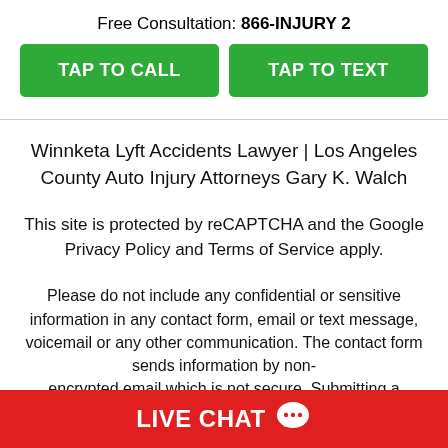Free Consultation: 866-INJURY 2
[Figure (other): Two green call-to-action buttons: TAP TO CALL and TAP TO TEXT]
Winnketa Lyft Accidents Lawyer | Los Angeles County Auto Injury Attorneys Gary K. Walch
This site is protected by reCAPTCHA and the Google Privacy Policy and Terms of Service apply.
Please do not include any confidential or sensitive information in any contact form, email or text message, voicemail or any other communication. The contact form sends information by non-encrypted email which is not secure. Submitting a
LIVE CHAT